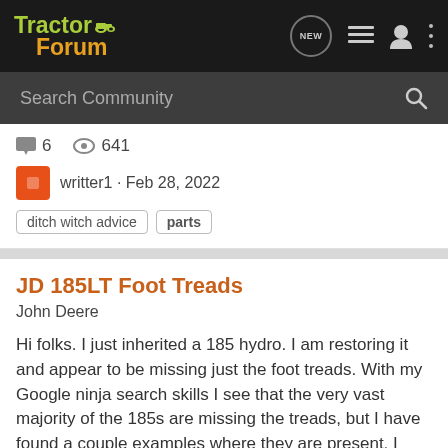TractorForum
Search Community
6  641  writter1 · Feb 28, 2022  ditch witch advice  parts
JD 185LT Foot Treads
John Deere
Hi folks. I just inherited a 185 hydro. I am restoring it and appear to be missing just the foot treads. With my Google ninja search skills I see that the very vast majority of the 185s are missing the treads, but I have found a couple examples where they are present. I don't see any listed for...
14  702  TClaremont · Oct 4, 2021